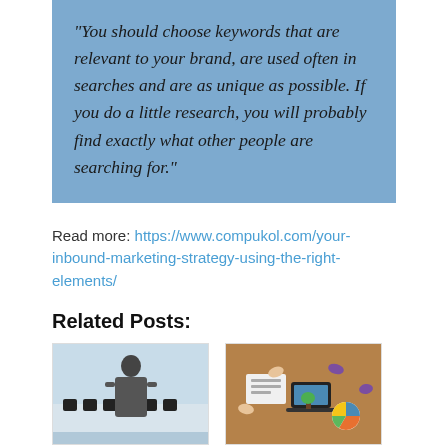"You should choose keywords that are relevant to your brand, are used often in searches and are as unique as possible. If you do a little research, you will probably find exactly what other people are searching for."
Read more: https://www.compukol.com/your-inbound-marketing-strategy-using-the-right-elements/
Related Posts:
[Figure (photo): Person in business attire standing in a conference room with chairs]
[Figure (photo): Top-down view of people working around a table with documents, laptop, and pie chart]